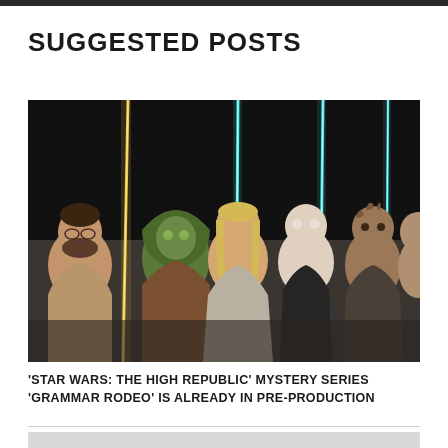SUGGESTED POSTS
[Figure (illustration): Comic-style illustration of Star Wars: The High Republic characters holding lightsabers with glowing blue and yellow blades against a dark background. Several alien and human Jedi characters are shown in a group portrait style.]
'STAR WARS: THE HIGH REPUBLIC' MYSTERY SERIES 'GRAMMAR RODEO' IS ALREADY IN PRE-PRODUCTION